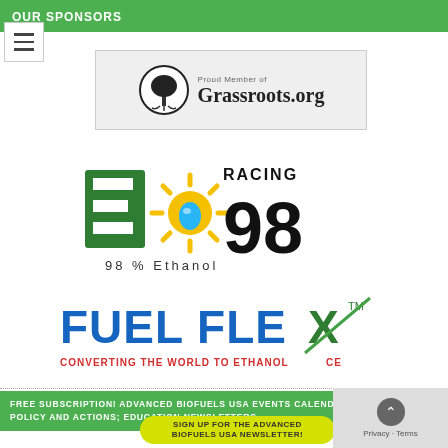OUR SPONSORS
[Figure (logo): Grassroots.org logo — tree circle icon with 'Proud Member of Grassroots.org' text on grey background]
[Figure (logo): E98 Racing logo — green E letter, sun burst, water drop, 98 in large text, 'RACING' above, '98% Ethanol' below]
[Figure (logo): Fuel Flex logo — blue 'FUEL FLEX' text with green X accent, 'CONVERTING THE WORLD TO ETHANOL CE' tagline in red]
FREE SUBSCRIPTION! ADVANCED BIOFUELS USA EVENTS CALENDAR; POLICY AND ACTIONS; EDUCATION NEWSLETTERS
SIGN UP FOR THE ADVANCED BIOFUELS USA NEWSLETTER!